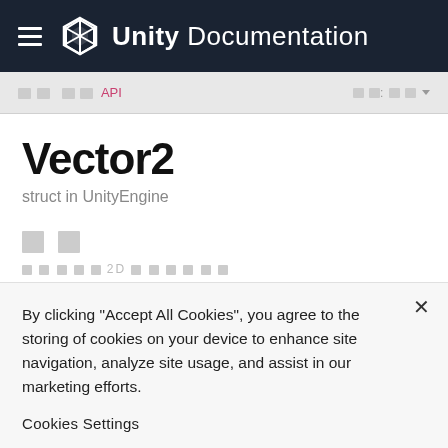Unity Documentation
스크립팅 API
Vector2
struct in UnityEngine
설명
벡터를 2D로 나타냅니다.
By clicking "Accept All Cookies", you agree to the storing of cookies on your device to enhance site navigation, analyze site usage, and assist in our marketing efforts.
Cookies Settings